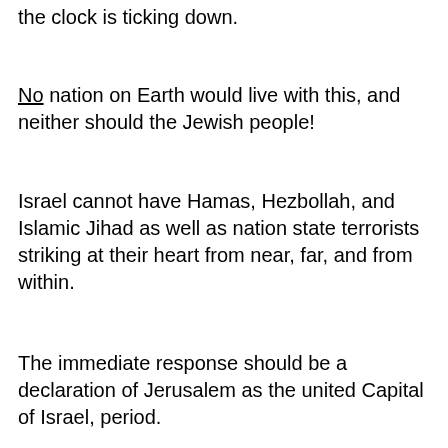the clock is ticking down.
No nation on Earth would live with this, and neither should the Jewish people!
Israel cannot have Hamas, Hezbollah, and Islamic Jihad as well as nation state terrorists striking at their heart from near, far, and from within.
The immediate response should be a declaration of Jerusalem as the united Capital of Israel, period.